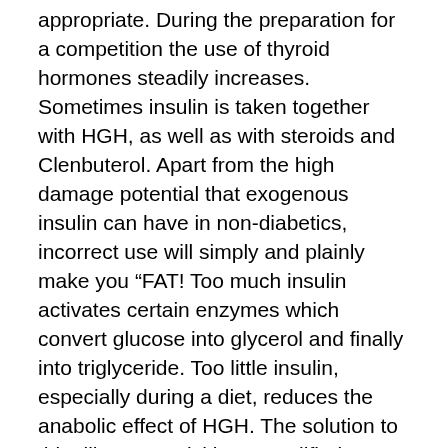appropriate. During the preparation for a competition the use of thyroid hormones steadily increases. Sometimes insulin is taken together with HGH, as well as with steroids and Clenbuterol. Apart from the high damage potential that exogenous insulin can have in non-diabetics, incorrect use will simply and plainly make you “FAT! Too much insulin activates certain enzymes which convert glucose into glycerol and finally into triglyceride. Too little insulin, especially during a diet, reduces the anabolic effect of HGH. The solution to this dilemma? Visiting a qualified physician who advises the athlete during this undertaking and who, in the event of exogenous insulin supply, checks the blood sugar level and urine periodically. According to what we have heard so far, athletes usually inject intermediately-